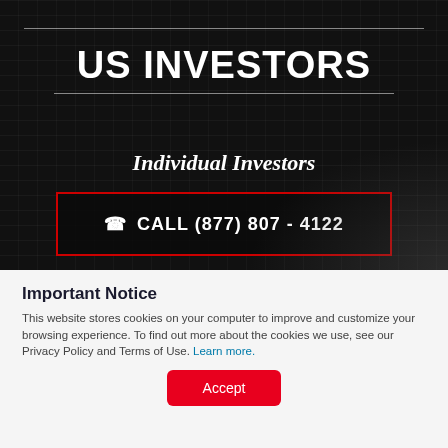US INVESTORS
Individual Investors
CALL (877) 807 - 4122
OR
Important Notice
This website stores cookies on your computer to improve and customize your browsing experience. To find out more about the cookies we use, see our Privacy Policy and Terms of Use. Learn more.
Accept